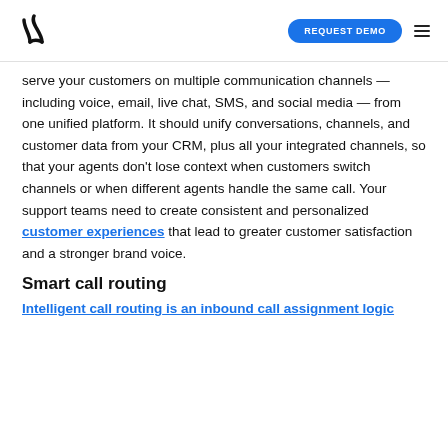REQUEST DEMO
serve your customers on multiple communication channels — including voice, email, live chat, SMS, and social media — from one unified platform. It should unify conversations, channels, and customer data from your CRM, plus all your integrated channels, so that your agents don't lose context when customers switch channels or when different agents handle the same call. Your support teams need to create consistent and personalized customer experiences that lead to greater customer satisfaction and a stronger brand voice.
Smart call routing
Intelligent call routing is an inbound call assignment logic